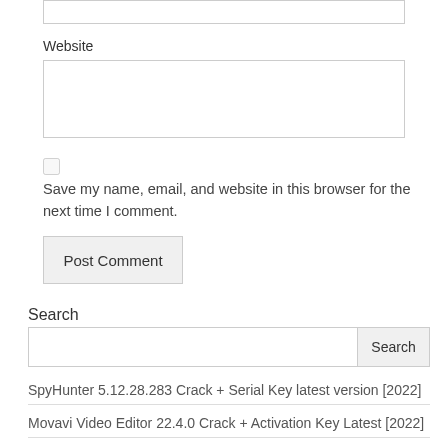Website
Save my name, email, and website in this browser for the next time I comment.
Post Comment
Search
Search
SpyHunter 5.12.28.283 Crack + Serial Key latest version [2022]
Movavi Video Editor 22.4.0 Crack + Activation Key Latest [2022]